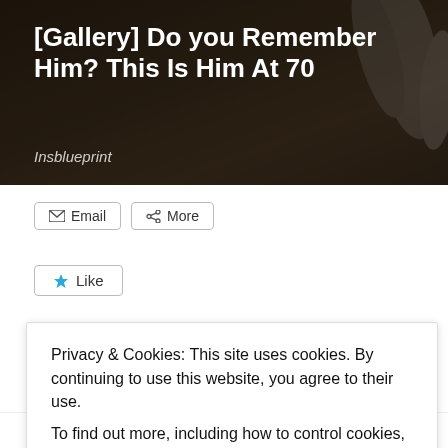[Figure (photo): Dark background banner image showing a hand, with white bold title text overlay reading '[Gallery] Do you Remember Him? This Is Him At 70' and italic source text 'Insblueprint']
[Gallery] Do you Remember Him? This Is Him At 70
Insblueprint
Email
More
Like
Be the first to like this.
Privacy & Cookies: This site uses cookies. By continuing to use this website, you agree to their use.
To find out more, including how to control cookies, see here: Cookie Policy
Close and accept
March 1, 2015
Progress check 1
In "Blog posts"
January 27, 2014